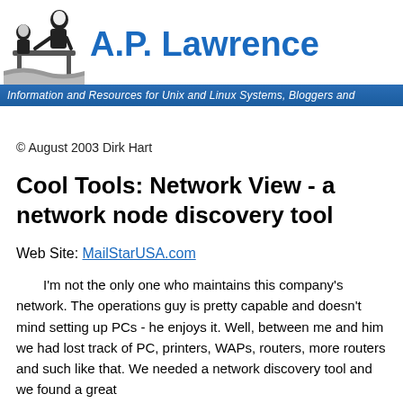[Figure (logo): A.P. Lawrence website header with logo (figure of person at desk) and site title in blue, with tagline bar below]
© August 2003 Dirk Hart
Cool Tools: Network View - a network node discovery tool
Web Site: MailStarUSA.com
I'm not the only one who maintains this company's network. The operations guy is pretty capable and doesn't mind setting up PCs - he enjoys it. Well, between me and him we had lost track of PC, printers, WAPs, routers, more routers and such like that. We needed a network discovery tool and we found a great